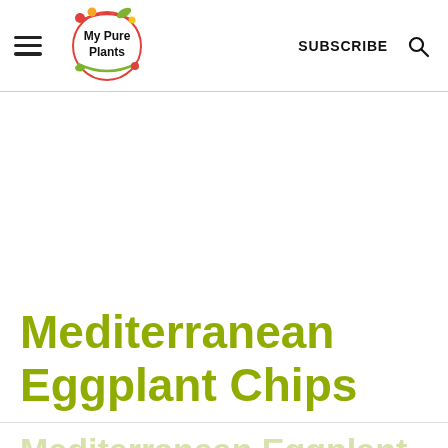My Pure Plants | SUBSCRIBE
[Figure (logo): My Pure Plants circular logo with colorful fruit/leaf decorations and text 'My Pure Plants']
Mediterranean Eggplant Chips
Mediterranean Eggplant